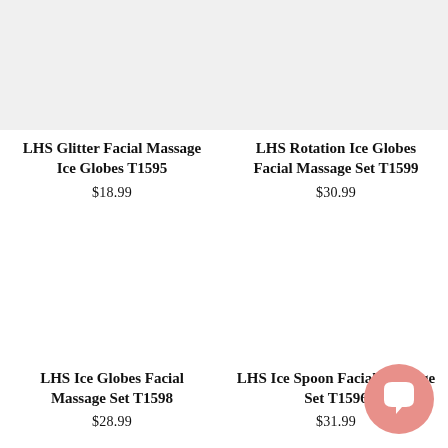[Figure (photo): Product image placeholder for LHS Glitter Facial Massage Ice Globes T1595]
LHS Glitter Facial Massage Ice Globes T1595
$18.99
[Figure (photo): Product image placeholder for LHS Rotation Ice Globes Facial Massage Set T1599]
LHS Rotation Ice Globes Facial Massage Set T1599
$30.99
[Figure (photo): Product image placeholder for LHS Ice Globes Facial Massage Set T1598]
LHS Ice Globes Facial Massage Set T1598
$28.99
[Figure (photo): Product image placeholder for LHS Ice Spoon Facial Massage Set T1596]
LHS Ice Spoon Facial Massage Set T1596
$31.99